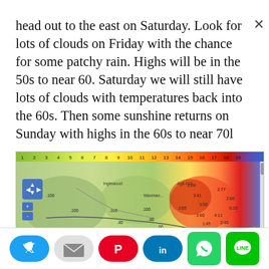head out to the east on Saturday. Look for lots of clouds on Friday with the chance for some patchy rain. Highs will be in the 50s to near 60. Saturday we will still have lots of clouds with temperatures back into the 60s. Then some sunshine returns on Sunday with highs in the 60s to near 70l
[Figure (map): Weather map showing geographic region with color-coded precipitation/temperature data overlaid, with a numbered timeline scale across the top (1-19) and various location labels and numerical values.]
This website uses cookies.
[Figure (other): Social media sharing buttons row: Twitter (blue), Email (gray), Pinterest (red), LinkedIn (blue), WhatsApp (green), LINE (green)]